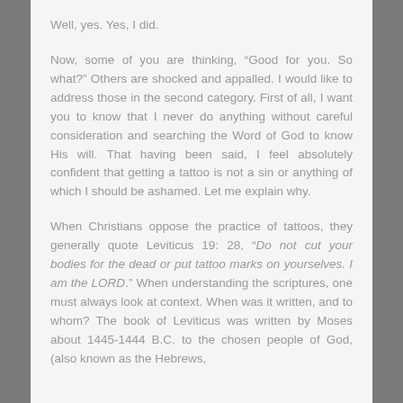Well, yes. Yes, I did.
Now, some of you are thinking, “Good for you. So what?” Others are shocked and appalled. I would like to address those in the second category. First of all, I want you to know that I never do anything without careful consideration and searching the Word of God to know His will. That having been said, I feel absolutely confident that getting a tattoo is not a sin or anything of which I should be ashamed. Let me explain why.
When Christians oppose the practice of tattoos, they generally quote Leviticus 19: 28, “Do not cut your bodies for the dead or put tattoo marks on yourselves. I am the LORD.” When understanding the scriptures, one must always look at context. When was it written, and to whom? The book of Leviticus was written by Moses about 1445-1444 B.C. to the chosen people of God, (also known as the Hebrews,